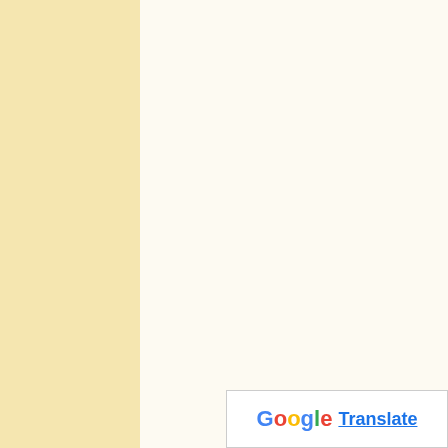proposed method also outperforms the parallel retinex implemented with the nVidia Performance Primitives library. Our experimental results indicate that careful design of memory access and multithreading patterns for